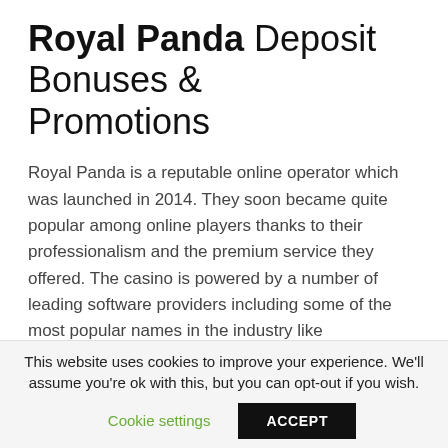Royal Panda Deposit Bonuses & Promotions
Royal Panda is a reputable online operator which was launched in 2014. They soon became quite popular among online players thanks to their professionalism and the premium service they offered. The casino is powered by a number of leading software providers including some of the most popular names in the industry like Microgaming, Net Entertainment, Evolution Gaming and Play'n Go. Players can enjoy in a big number of casino games at Royal Panda casino, including slots, scratch cards, video poker, table games and live dealer games.
This website uses cookies to improve your experience. We'll assume you're ok with this, but you can opt-out if you wish.